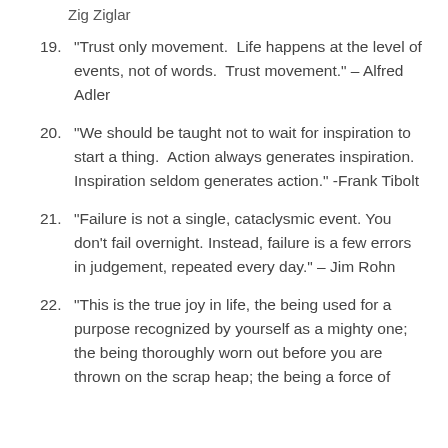Zig Ziglar
19. "Trust only movement.  Life happens at the level of events, not of words.  Trust movement." – Alfred Adler
20. "We should be taught not to wait for inspiration to start a thing.  Action always generates inspiration.  Inspiration seldom generates action." -Frank Tibolt
21. "Failure is not a single, cataclysmic event. You don’t fail overnight. Instead, failure is a few errors in judgement, repeated every day." – Jim Rohn
22. "This is the true joy in life, the being used for a purpose recognized by yourself as a mighty one; the being thoroughly worn out before you are thrown on the scrap heap; the being a force of